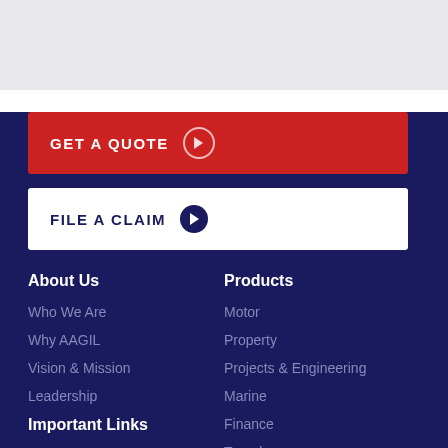GET A QUOTE
FILE A CLAIM
About Us
Who We Are
Why AAGIL
Vision & Mission
Leadership
Important Links
Claims
Financials
Products
Motor
Property
Projects & Engineering
Marine
Finance
Travel
Accidents